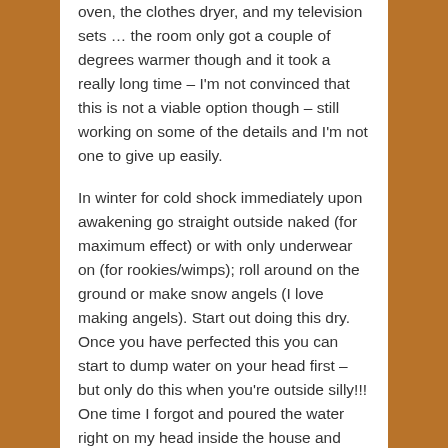oven, the clothes dryer, and my television sets … the room only got a couple of degrees warmer though and it took a really long time – I'm not convinced that this is not a viable option though – still working on some of the details and I'm not one to give up easily.
In winter for cold shock immediately upon awakening go straight outside naked (for maximum effect) or with only underwear on (for rookies/wimps); roll around on the ground or make snow angels (I love making angels). Start out doing this dry. Once you have perfected this you can start to dump water on your head first – but only do this when you're outside silly!!! One time I forgot and poured the water right on my head inside the house and boy oh boy did my wife get mad at me!!!
Reply